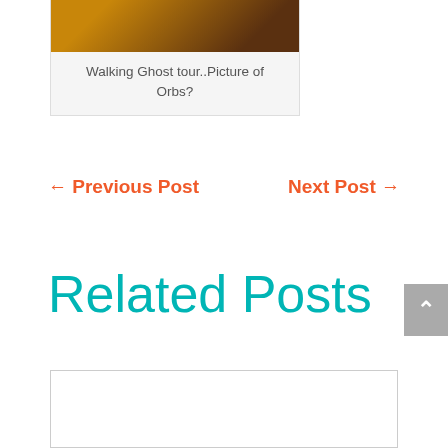[Figure (photo): Partial photo showing a person with dark/amber tones, top of a card]
Walking Ghost tour..Picture of Orbs?
← Previous Post   Next Post →
Related Posts
[Figure (photo): Related post card, mostly white/blank content area]